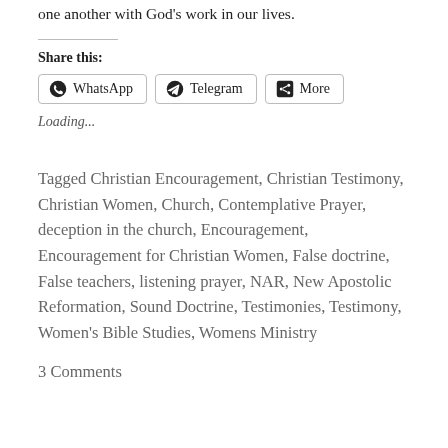one another with God's work in our lives.
Share this:
[Figure (other): Share buttons for WhatsApp, Telegram, and More]
Loading...
Tagged Christian Encouragement, Christian Testimony, Christian Women, Church, Contemplative Prayer, deception in the church, Encouragement, Encouragement for Christian Women, False doctrine, False teachers, listening prayer, NAR, New Apostolic Reformation, Sound Doctrine, Testimonies, Testimony, Women's Bible Studies, Womens Ministry
3 Comments